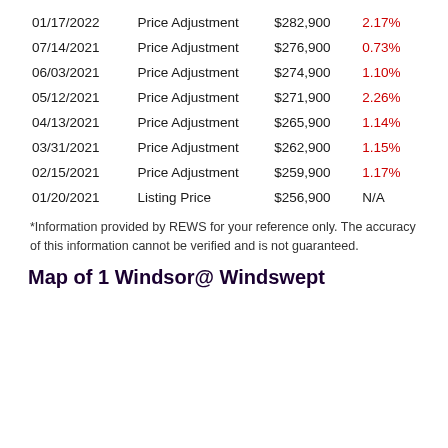| Date | Type | Price | Change |
| --- | --- | --- | --- |
| 01/17/2022 | Price Adjustment | $282,900 | 2.17% |
| 07/14/2021 | Price Adjustment | $276,900 | 0.73% |
| 06/03/2021 | Price Adjustment | $274,900 | 1.10% |
| 05/12/2021 | Price Adjustment | $271,900 | 2.26% |
| 04/13/2021 | Price Adjustment | $265,900 | 1.14% |
| 03/31/2021 | Price Adjustment | $262,900 | 1.15% |
| 02/15/2021 | Price Adjustment | $259,900 | 1.17% |
| 01/20/2021 | Listing Price | $256,900 | N/A |
*Information provided by REWS for your reference only. The accuracy of this information cannot be verified and is not guaranteed.
Map of 1 Windsor@ Windswept